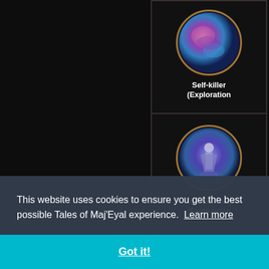[Figure (screenshot): Game achievement card showing a circular badge with purple/blue/pink iridescent design on dark golden frame background, labeled 'Self-killer (Exploration']
[Figure (screenshot): Game achievement card showing a circular badge with blue/purple figure design on dark golden frame background, labeled 'Atamathoned! (Exploration']
This website uses cookies to ensure you get the best possible Tales of Maj'Eyal experience.  Learn more
Got it!